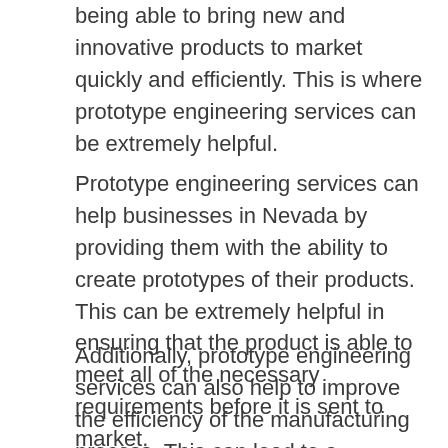being able to bring new and innovative products to market quickly and efficiently. This is where prototype engineering services can be extremely helpful.
Prototype engineering services can help businesses in Nevada by providing them with the ability to create prototypes of their products. This can be extremely helpful in ensuring that the product is able to meet all of the necessary requirements before it is sent to market.
Additionally, prototype engineering services can also help to improve the efficiency of the manufacturing process. This can lead to a reduction in the overall cost of the product...